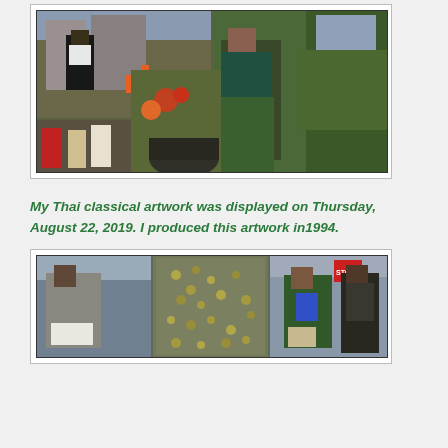[Figure (photo): Street photography collage showing multiple scenes: a man walking away in black clothes and cap on a city street with orange traffic cones; colorful flowers and potted plants near a building; a woman in a green skirt walking on a sidewalk with green foliage; a smaller inset image of people near a building entrance.]
My Thai classical artwork was displayed on Thursday, August 22, 2019.  I produced this artwork in1994.
[Figure (photo): Street photography collage showing three scenes: a man in a grey shirt holding a white container; a decorative Thai classical artwork displayed on a wall with intricate patterns; a woman in a floral dress holding a blue folder and bag; a man with a backpack near a stop sign.]